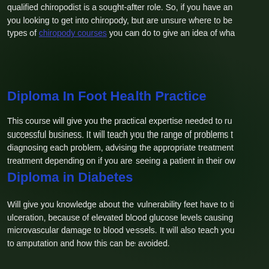qualified chiropodist is a sought-after role. So, if you have an interest and you looking to get into chiropody, but are unsure where to begin, here are the types of chiropody courses you can do to give an idea of what to expect.
Diploma In Foot Health Practice
This course will give you the practical expertise needed to run a successful business. It will teach you the range of problems to look for, diagnosing each problem, advising the appropriate treatment and adapting treatment depending on if you are seeing a patient in their ow...
Diploma in Diabetes
Will give you knowledge about the vulnerability feet have to the risk of ulceration, because of elevated blood glucose levels causing macrovascular and microvascular damage to blood vessels. It will also teach you about risk leading to amputation and how this can be avoided.